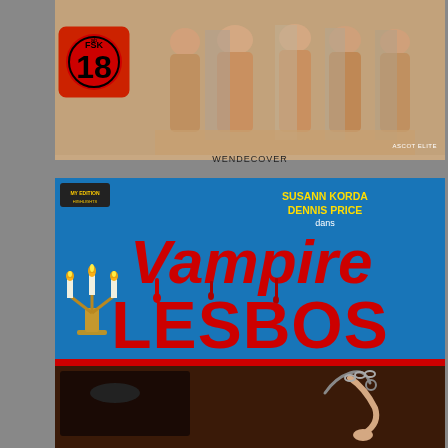[Figure (photo): Top portion of a DVD/Blu-ray cover showing the back or alternate (Wendecover) side with an FSK 18 rating badge in the lower-left corner and 'ASCOT ELITE' text in the lower-right corner.]
WENDECOVER
[Figure (photo): Movie poster for 'Vampire Lesbos' on a bright blue background. Top area shows actors names 'SUSANN KORDA / DENNIS PRICE / dans' in yellow/white text. Large red stylized title text reads 'Vampire' then 'LESBOS'. A candelabra with lit candles is on the left side. Bottom portion shows a dark scene with a figure in chains.]